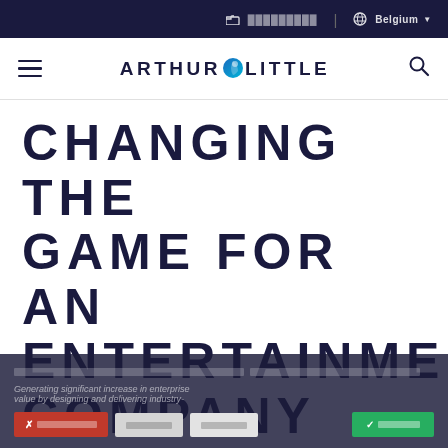[folder icon] [redacted] | [globe icon] Belgium [dropdown]
[hamburger menu] ARTHUR [logo] LITTLE [search icon]
CHANGING THE GAME FOR AN ENTERTAINMENT COMPANY
Generating significant increase in enterprise value by designing and delivering industry-